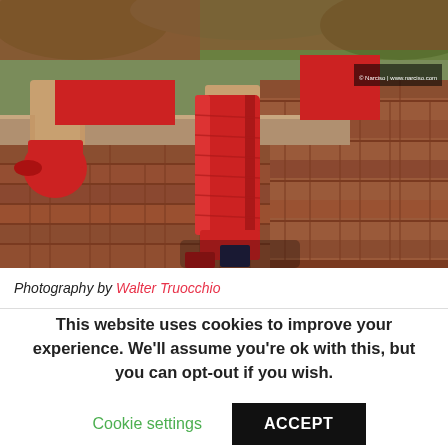[Figure (photo): A person wearing a red metallic costume including red shiny knee-high boots and red outfit, sitting on a brick wall outdoors. Green foliage visible in background. The image shows legs and lower body.]
Photography by Walter Truocchio
This website uses cookies to improve your experience. We'll assume you're ok with this, but you can opt-out if you wish.